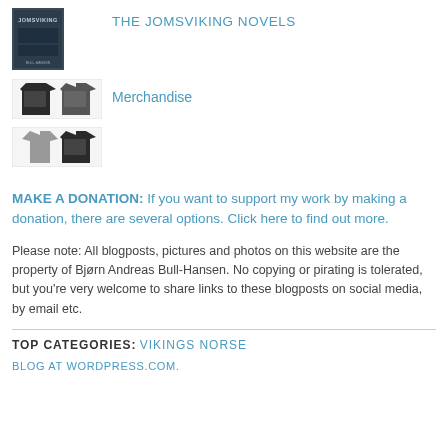[Figure (illustration): Thumbnail image of a dark fantasy/viking book cover with text JOMSVIKING]
THE JOMSVIKING NOVELS
[Figure (illustration): Thumbnail images of merchandise t-shirts]
Merchandise
MAKE A DONATION: If you want to support my work by making a donation, there are several options. Click here to find out more.
Please note: All blogposts, pictures and photos on this website are the property of Bjørn Andreas Bull-Hansen. No copying or pirating is tolerated, but you're very welcome to share links to these blogposts on social media, by email etc.
TOP CATEGORIES: VIKINGS NORSE
BLOG AT WORDPRESS.COM.